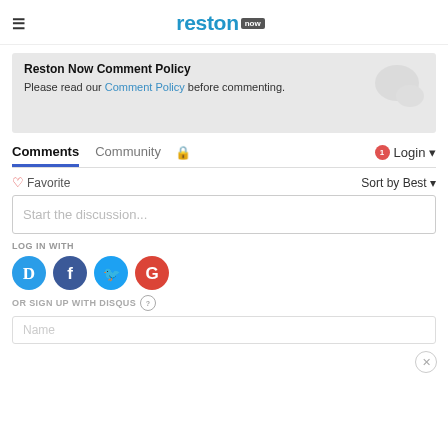reston now
Reston Now Comment Policy
Please read our Comment Policy before commenting.
Comments  Community  Login
♡ Favorite   Sort by Best
Start the discussion...
LOG IN WITH
[Figure (other): Social login icons: Disqus (D), Facebook (F), Twitter bird, Google (G)]
OR SIGN UP WITH DISQUS ?
Name